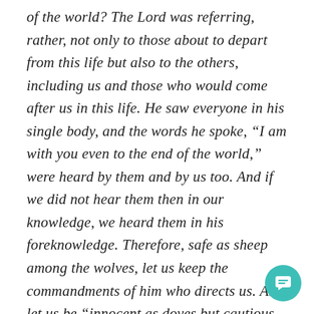of the world? The Lord was referring, rather, not only to those about to depart from this life but also to the others, including us and those who would come after us in this life. He saw everyone in his single body, and the words he spoke, “I am with you even to the end of the world,” were heard by them and by us too. And if we did not hear them then in our knowledge, we heard them in his foreknowledge. Therefore, safe as sheep among the wolves, let us keep the commandments of him who directs us. And let us be “innocent as doves but cautious as snakes.”8 Innocent as doves that we may not harm anyone; cautious as snakes that we may